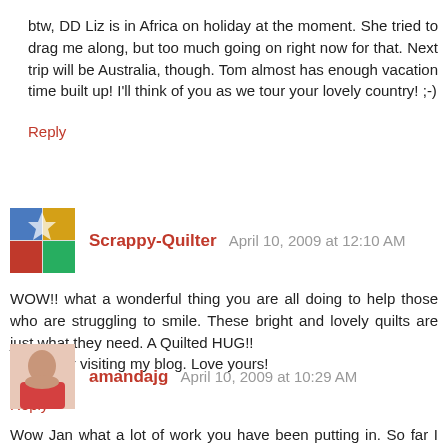btw, DD Liz is in Africa on holiday at the moment. She tried to drag me along, but too much going on right now for that. Next trip will be Australia, though. Tom almost has enough vacation time built up! I'll think of you as we tour your lovely country! ;-)
Reply
Scrappy-Quilter  April 10, 2009 at 12:10 AM
WOW!! what a wonderful thing you are all doing to help those who are struggling to smile. These bright and lovely quilts are just what they need. A Quilted HUG!!
thanks for visiting my blog. Love yours!
Reply
amandajg  April 10, 2009 at 10:29 AM
Wow Jan what a lot of work you have been putting in. So far I have made more than 50 blocks to send you and some binding as well. I was all sent to send the parcel when this week Spotlight in NZ started a sale … so I have